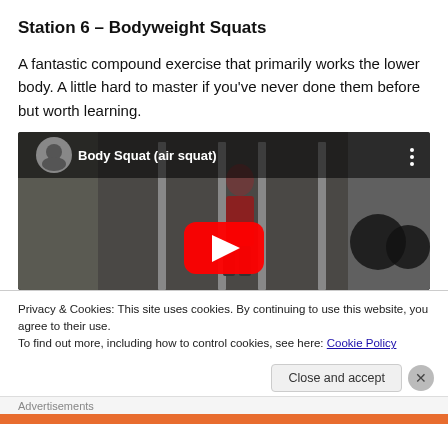Station 6 – Bodyweight Squats
A fantastic compound exercise that primarily works the lower body. A little hard to master if you've never done them before but worth learning.
[Figure (screenshot): YouTube video embed showing 'Body Squat (air squat)' with a play button, thumbnail of a person standing in a gym with squat rack and weights]
Privacy & Cookies: This site uses cookies. By continuing to use this website, you agree to their use.
To find out more, including how to control cookies, see here: Cookie Policy
Close and accept
Advertisements